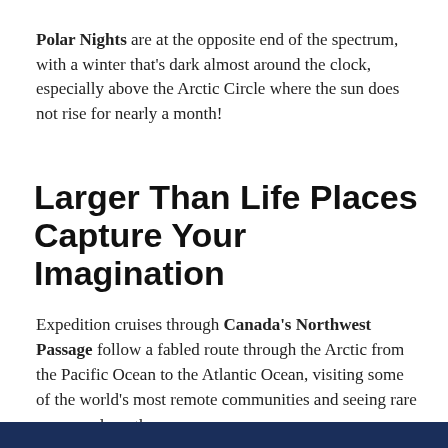Polar Nights are at the opposite end of the spectrum, with a winter that's dark almost around the clock, especially above the Arctic Circle where the sun does not rise for nearly a month!
Larger Than Life Places Capture Your Imagination
Expedition cruises through Canada's Northwest Passage follow a fabled route through the Arctic from the Pacific Ocean to the Atlantic Ocean, visiting some of the world's most remote communities and seeing rare scenery along the way.